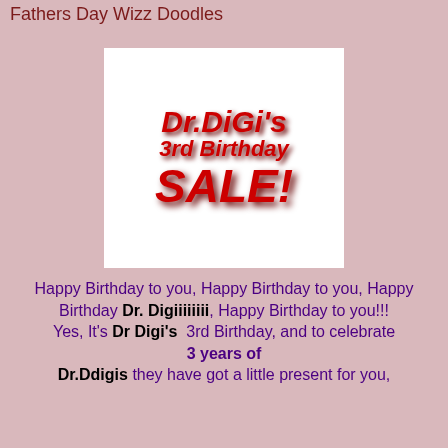Fathers Day Wizz Doodles
[Figure (illustration): Dr. DiGi's 3rd Birthday SALE! promotional image with bold red 3D text on white background]
Happy Birthday to you, Happy Birthday to you, Happy Birthday Dr. Digiiiiiiii, Happy Birthday to you!!! Yes, It's Dr Digi's 3rd Birthday, and to celebrate 3 years of Dr.Ddigis they have got a little present for you,